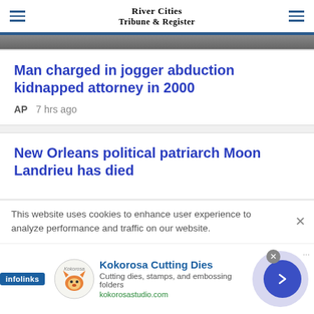River Cities Tribune & Register
[Figure (photo): Partial cropped photo at top of page, dark image]
Man charged in jogger abduction kidnapped attorney in 2000
AP   7 hrs ago
New Orleans political patriarch Moon Landrieu has died
This website uses cookies to enhance user experience to analyze performance and traffic on our website.
[Figure (infographic): Kokorosa Cutting Dies advertisement with fox logo, brand name, description, and URL kokorosastudio.com]